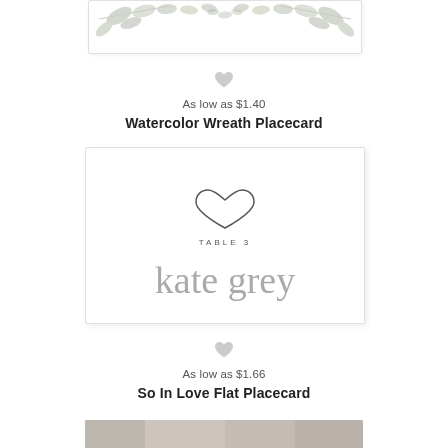[Figure (illustration): Top portion of a Watercolor Wreath Placecard showing grey watercolor leaf/branch decorations at the top]
[Figure (other): Small grey heart icon (favorite/wishlist button)]
As low as $1.40
Watercolor Wreath Placecard
[Figure (illustration): So In Love Flat Placecard preview showing a heart outline, TABLE 3 text, and 'kate grey' in cursive script]
[Figure (other): Small grey heart icon (favorite/wishlist button)]
As low as $1.66
So In Love Flat Placecard
[Figure (photo): Bottom strip of a placecard product image partially visible]